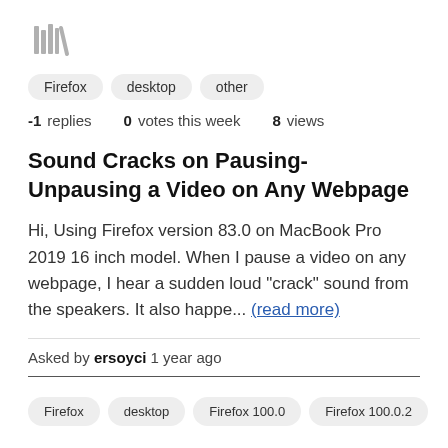[Figure (other): Stack of books / library icon in gray]
Firefox
desktop
other
-1 replies   0 votes this week   8 views
Sound Cracks on Pausing-Unpausing a Video on Any Webpage
Hi, Using Firefox version 83.0 on MacBook Pro 2019 16 inch model. When I pause a video on any webpage, I hear a sudden loud "crack" sound from the speakers. It also happe... (read more)
Asked by ersoyci 1 year ago
Firefox
desktop
Firefox 100.0
Firefox 100.0.2